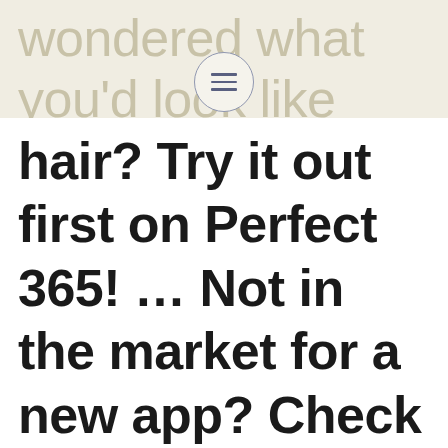wondered what you'd look like with purple
hair? Try it out first on Perfect 365! … Not in the market for a new app? Check out these helpful tips to take your selfies to the